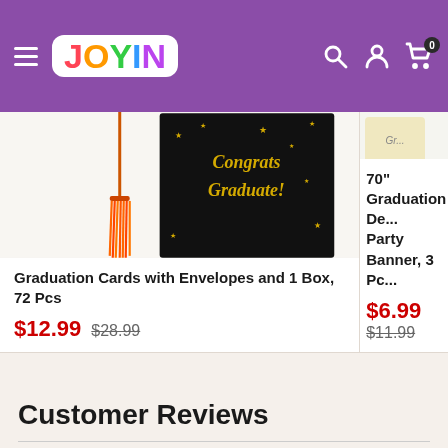JOYIN — navigation header with hamburger menu, logo, search, account, and cart icons
[Figure (photo): Product image: black graduation card box with orange tassel, text 'Congrats Graduate!' in gold]
Graduation Cards with Envelopes and 1 Box, 72 Pcs
$12.99  $28.99
[Figure (photo): Partially visible product image: 70-inch graduation decorative party banner with yard sign in background]
70" Graduation De... Party Banner, 3 Pc...
$6.99  $11.99
Customer Reviews